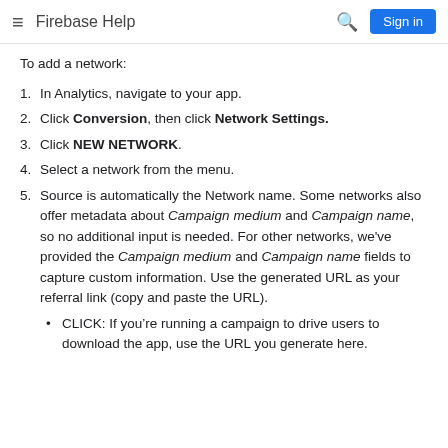Firebase Help
To add a network:
In Analytics, navigate to your app.
Click Conversion, then click Network Settings.
Click NEW NETWORK.
Select a network from the menu.
Source is automatically the Network name. Some networks also offer metadata about Campaign medium and Campaign name, so no additional input is needed. For other networks, we've provided the Campaign medium and Campaign name fields to capture custom information. Use the generated URL as your referral link (copy and paste the URL).
CLICK: If you're running a campaign to drive users to download the app, use the URL you generate here.